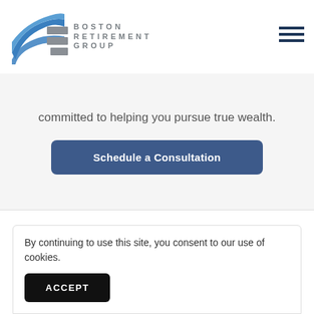[Figure (logo): Boston Retirement Group logo with blue wave graphic and gray lettering]
committed to helping you pursue true wealth.
Schedule a Consultation
Categories
By continuing to use this site, you consent to our use of cookies.
ACCEPT